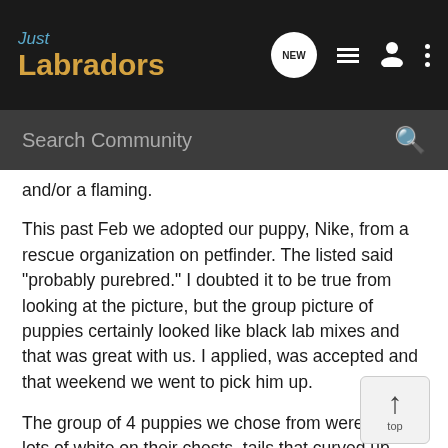Just Labradors
and/or a flaming.
This past Feb we adopted our puppy, Nike, from a rescue organization on petfinder. The listed said "probably purebred." I doubted it to be true from looking at the picture, but the group picture of puppies certainly looked like black lab mixes and that was great with us. I applied, was accepted and that weekend we went to pick him up.
The group of 4 puppies we chose from were mixes- lots of white on their chests, tails that curved up slightly, shorter than your average lab ears. Once home, he happened to yawn. And would you look at that- lots of black/purple markings on the top of his tongue and very dark underneath his tongue. I know now that he's definitely part Chow- the shape of his face, the way he carries his tail, his tongue, and he's not much for retrieving.